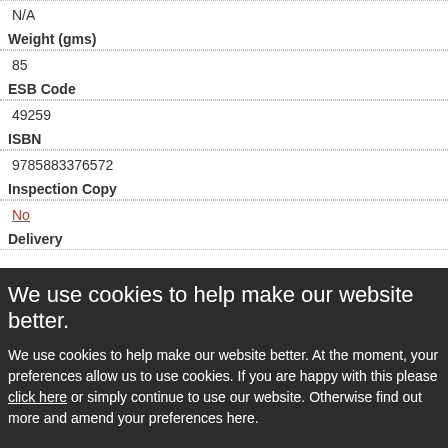N/A
Weight (gms)
85
ESB Code
49259
ISBN
9785883376572
Inspection Copy
No
Delivery
We use cookies to help make our website better.
We use cookies to help make our website better. At the moment, your preferences allow us to use cookies. If you are happy with this please click here or simply continue to use our website. Otherwise find out more and amend your preferences here.